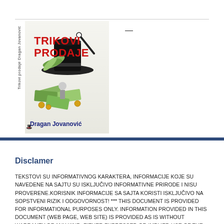[Figure (illustration): Book cover of 'Trikovi Prodaje' by Dragan Jovanović, showing a black top hat with a magic wand, fans of dollar bills and scattered money. The spine text reads 'Trikovi prodaje Dragan Jovanović'. The author name appears in bold dark blue at the bottom of the cover.]
Disclamer
TEKSTOVI SU INFORMATIVNOG KARAKTERA, INFORMACIJE KOJE SU NAVEDENE NA SAJTU SU ISKLJUČIVO INFORMATIVNE PRIRODE I NISU PROVERENE.KORISNIK INFORMACIJE SA SAJTA KORISTI ISKLJUČIVO NA SOPSTVENI RIZIK I ODGOVORNOST! *** THIS DOCUMENT IS PROVIDED FOR INFORMATIONAL PURPOSES ONLY. INFORMATION PROVIDED IN THIS DOCUMENT (WEB PAGE, WEB SITE) IS PROVIDED AS IS WITHOUT WARRANTY OF ANY KIND, EITHER EXPRESSED OR IMPLIED.USE OF THE NAME OF ANY PRODUCT WITHOUT MENTION OF TRADEMARK STATUS SHOULD NOT BE